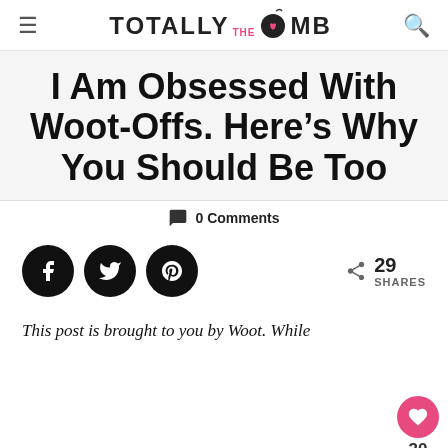≡  TOTALLY THE BOMB  🔍
I Am Obsessed With Woot-Offs. Here's Why You Should Be Too
💬 0 Comments
29 SHARES
This post is brought to you by Woot. While